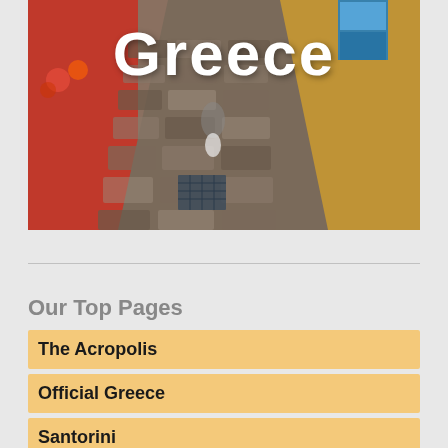[Figure (photo): Narrow cobblestone alleyway in Greece with colorful red and yellow/ochre walls, with the word 'Greece' overlaid in large white bold text at the top]
Our Top Pages
The Acropolis
Official Greece
Santorini
Rhodes